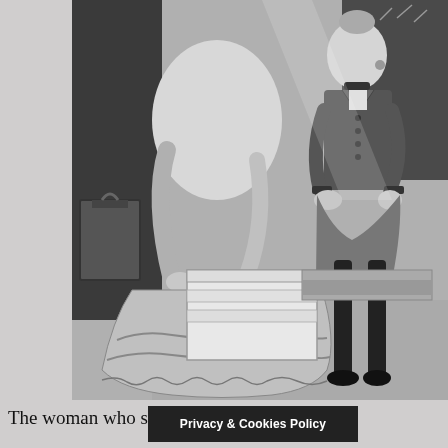[Figure (illustration): Black and white illustration of two figures in a room. A woman in a large ruffled dress leans over a chest or box, hands working on it. A second person sits on a bed to the right, wearing a dark buttoned jacket and dark stockings, looking on with a surprised or concerned expression. The scene has a period/historical style.]
The woman who stoo... dark gray
Privacy & Cookies Policy